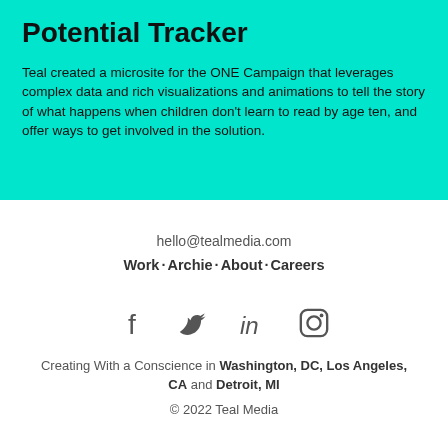Potential Tracker
Teal created a microsite for the ONE Campaign that leverages complex data and rich visualizations and animations to tell the story of what happens when children don't learn to read by age ten, and offer ways to get involved in the solution.
hello@tealmedia.com
Work · Archie · About · Careers
[Figure (illustration): Social media icons: Facebook, Twitter, LinkedIn, Instagram]
Creating With a Conscience in Washington, DC, Los Angeles, CA and Detroit, MI
© 2022 Teal Media